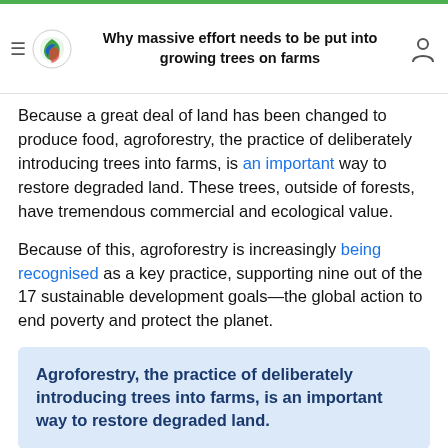Why massive effort needs to be put into growing trees on farms
Because a great deal of land has been changed to produce food, agroforestry, the practice of deliberately introducing trees into farms, is an important way to restore degraded land. These trees, outside of forests, have tremendous commercial and ecological value.
Because of this, agroforestry is increasingly being recognised as a key practice, supporting nine out of the 17 sustainable development goals—the global action to end poverty and protect the planet.
Agroforestry, the practice of deliberately introducing trees into farms, is an important way to restore degraded land.